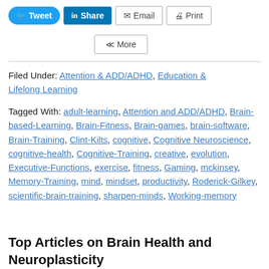[Figure (other): Social sharing buttons: Tweet (Twitter), Share (LinkedIn), Email, Print, and More]
Filed Under: Attention & ADD/ADHD, Education & Lifelong Learning
Tagged With: adult-learning, Attention and ADD/ADHD, Brain-based-Learning, Brain-Fitness, Brain-games, brain-software, Brain-Training, Clint-Kilts, cognitive, Cognitive Neuroscience, cognitive-health, Cognitive-Training, creative, evolution, Executive-Functions, exercise, fitness, Gaming, mckinsey, Memory-Training, mind, mindset, productivity, Roderick-Gilkey, scientific-brain-training, sharpen-minds, Working-memory
Top Articles on Brain Health and Neuroplasticity